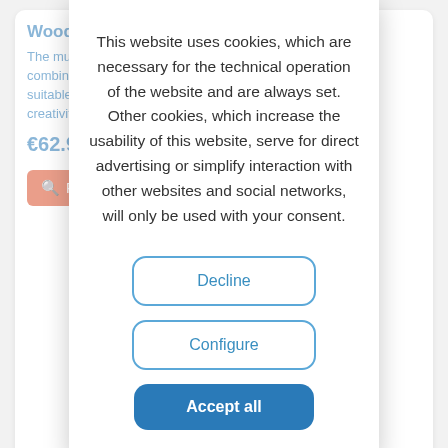[Figure (screenshot): Background e-commerce website content showing product cards with blue text, price €62.95, and a red product search button. Background is partially visible behind a cookie consent modal overlay.]
This website uses cookies, which are necessary for the technical operation of the website and are always set. Other cookies, which increase the usability of this website, serve for direct advertising or simplify interaction with other websites and social networks, will only be used with your consent.
Decline
Configure
Accept all